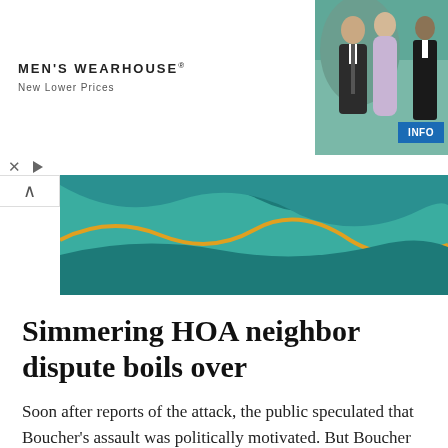[Figure (photo): Men's Wearhouse advertisement banner showing a couple in formal wear (man in tuxedo, woman in formal dress) and a man in a tuxedo on the right, with an INFO button]
Simmering HOA neighbor dispute boils over
Soon after reports of the attack, the public speculated that Boucher's assault was politically motivated. But Boucher and neighbors in Rivergreen HOA deny any political motive behind the assault.
Whether political beliefs influenced